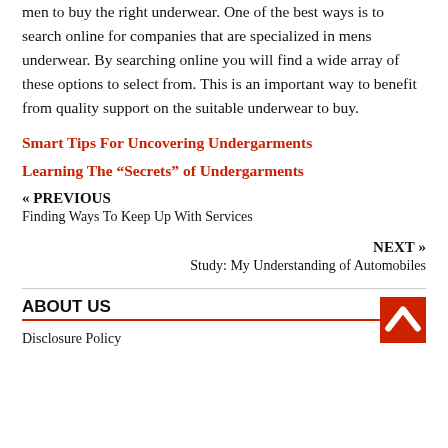men to buy the right underwear. One of the best ways is to search online for companies that are specialized in mens underwear. By searching online you will find a wide array of these options to select from. This is an important way to benefit from quality support on the suitable underwear to buy.
Smart Tips For Uncovering Undergarments
Learning The “Secrets” of Undergarments
« PREVIOUS
Finding Ways To Keep Up With Services
NEXT »
Study: My Understanding of Automobiles
ABOUT US
Disclosure Policy